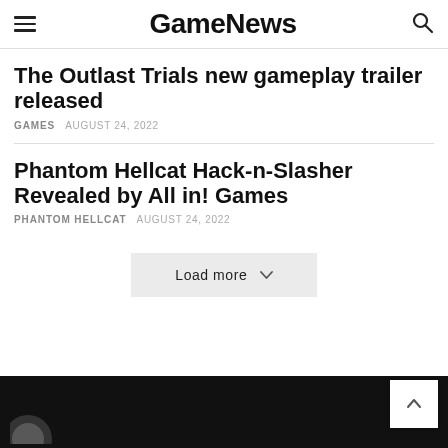GameNews
The Outlast Trials new gameplay trailer released
GAMES   AUGUST 24, 2022
Phantom Hellcat Hack-n-Slasher Revealed by All in! Games
PHANTOM HELLCAT   AUGUST 24, 2022
Load more
GameNews